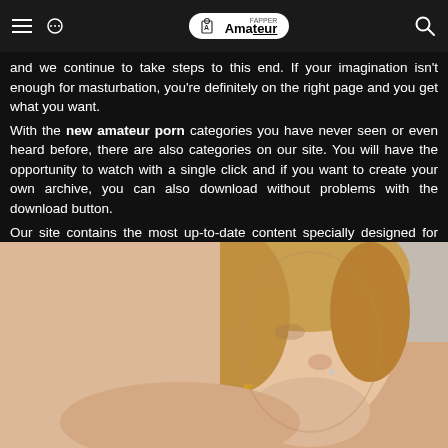Amateur Fapper
and we continue to take steps to this end. If your imagination isn't enough for masturbation, you're definitely on the right page and you get what you want.
With the new amateur porn categories you have never seen or even heard before, there are also categories on our site. You will have the opportunity to watch with a single click and if you want to create your own archive, you can also download without problems with the download button.
Our site contains the most up-to-date content specially designed for you, you can start watching your favorite videos immediately by logging into our site.
[Figure (photo): Close-up photo of a young blonde woman looking upward, with visible earring and nose piercing, against a light background.]